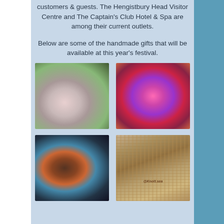customers & guests. The Hengistbury Head Visitor Centre and The Captain's Club Hotel & Spa are among their current outlets.
Below are some of the handmade gifts that will be available at this year's festival.
[Figure (photo): Blurred photo of handmade craft items, appears to be small decorative objects or food items on a white surface with green foliage in background]
[Figure (photo): Close-up blurred photo of colorful felt or fabric flowers in pink, red, and purple tones]
[Figure (photo): Blurred photo of various handmade craft items, possibly jewellery or decorative objects with dark background]
[Figure (photo): Photo of a macrame or knotted rope garment/shawl with fringe, labelled @Knott.sea]